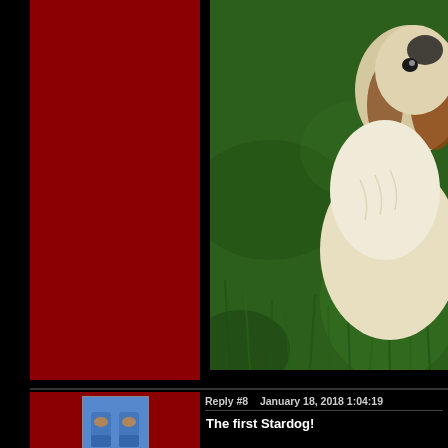[Figure (photo): A small fluffy dog (appears to be a Cavalier King Charles Spaniel or similar breed) sitting on green grass, viewed from the side/front. The dog has white and brown/tan fur. Lush green grass fills the background.]
Reply #8    January 18, 2018 1:04:19
[Figure (photo): Small avatar image showing blue socks/slippers with a design, likely a pig or animal motif on them.]
KarmaGirl
The first Stardog!